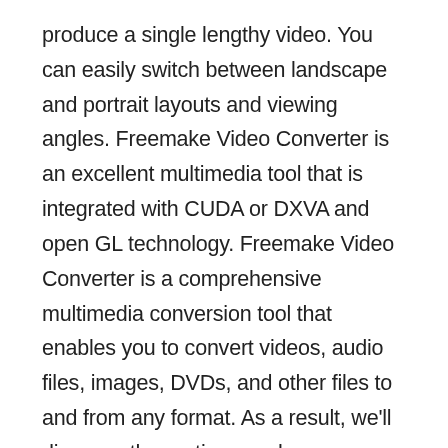produce a single lengthy video. You can easily switch between landscape and portrait layouts and viewing angles. Freemake Video Converter is an excellent multimedia tool that is integrated with CUDA or DXVA and open GL technology. Freemake Video Converter is a comprehensive multimedia conversion tool that enables you to convert videos, audio files, images, DVDs, and other files to and from any format. As a result, we'll discuss other options such as increase, dark bars, auto-modify, and zoom, among others, to ensure that the video has a conformable size and dimension.
Additionally, this application is more than just a converter; it offers a slew of other essential utilities. Freemake Video Converter Crack enables you to easily